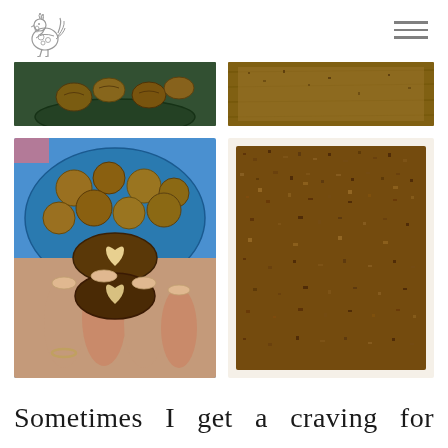[Figure (logo): Decorative rooster illustration in gray, folk-art style logo]
[Figure (photo): Top-left: partial photo of walnuts in a green bowl]
[Figure (photo): Top-right: partial photo of ground walnut/nut mixture on wooden surface]
[Figure (photo): Center-left: hand holding two walnut halves showing heart-shaped nut meat, background bowl of whole walnuts]
[Figure (photo): Center-right: close-up of ground brown walnut mixture spread on surface]
Sometimes I get a craving for